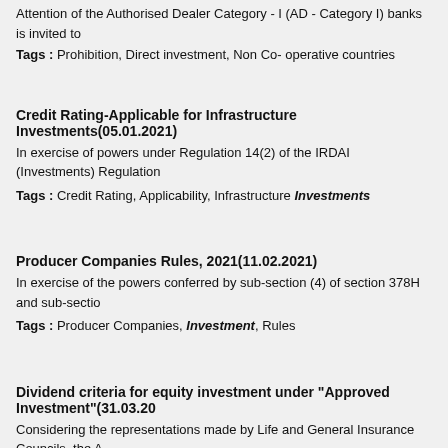Attention of the Authorised Dealer Category - I (AD - Category I) banks is invited to
Tags : Prohibition, Direct investment, Non Co- operative countries
Credit Rating-Applicable for Infrastructure Investments(05.01.2021)
In exercise of powers under Regulation 14(2) of the IRDAI (Investments) Regulation
Tags : Credit Rating, Applicability, Infrastructure Investments
Producer Companies Rules, 2021(11.02.2021)
In exercise of the powers conferred by sub-section (4) of section 378H and sub-sectio
Tags : Producer Companies, Investment, Rules
Dividend criteria for equity investment under "Approved Investment"(31.03.20
Considering the representations made by Life and General Insurance Councils, the A
Tags : Dividend criteria, Equity investment, Approval